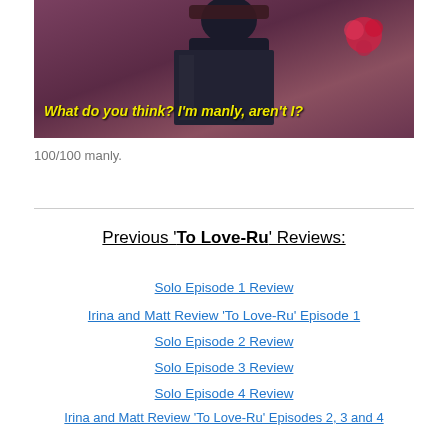[Figure (screenshot): Anime screenshot showing a character with a subtitle in yellow text: "What do you think? I'm manly, aren't I?"]
100/100 manly.
Previous 'To Love-Ru' Reviews:
Solo Episode 1 Review
Irina and Matt Review 'To Love-Ru' Episode 1
Solo Episode 2 Review
Solo Episode 3 Review
Solo Episode 4 Review
Irina and Matt Review 'To Love-Ru' Episodes 2, 3 and 4
Irina and Matt Review 'To Love-Ru' Episode 5
Irina and Matt Review 'To Love-Ru' Episode 6